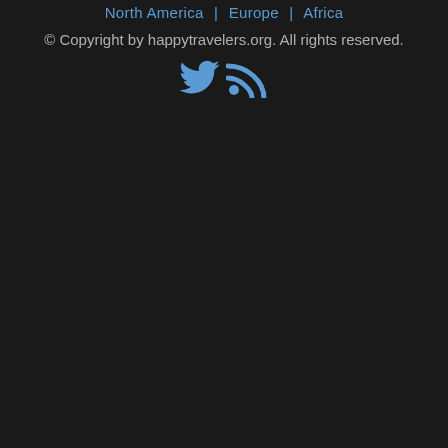North America | Europe | Africa
© Copyright by happytravelers.org. All rights reserved.
[Figure (illustration): Twitter bird icon and RSS feed icon in blue color]